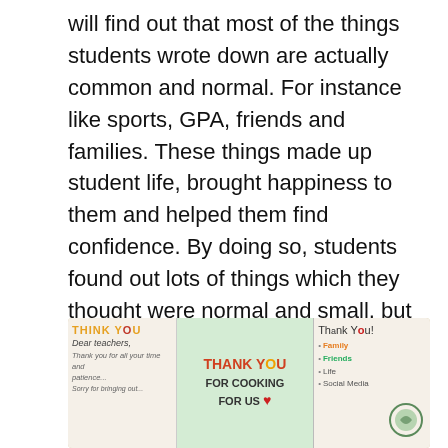will find out that most of the things students wrote down are actually common and normal. For instance like sports, GPA, friends and families. These things made up student life, brought happiness to them and helped them find confidence. By doing so, students found out lots of things which they thought were normal and small, but are actually things that provided them with motivation, encouragements in life. It was a revealing and refreshing experience for them.
[Figure (photo): Photo of handwritten thank-you cards laid out on a surface. Left card says 'THINK YOU' in orange with 'Dear teachers, Thank you for all your...' in cursive. Middle card on green background says 'THANK YOU FOR COOKING FOR US' with a red heart. Right card says 'Thank You' with a list including Family, Friends, Life, Social Media and a circular decorative stamp.]